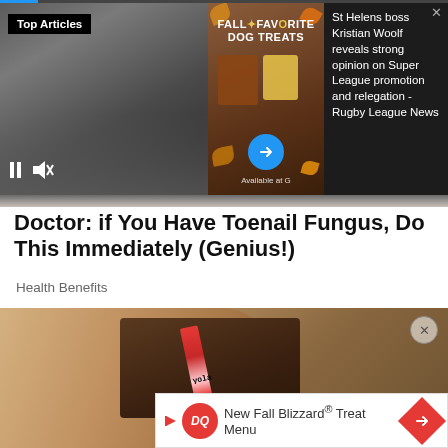[Figure (screenshot): Top video/ad banner with coach photo on left, dog treats ad in center, and St Helens rugby news on right. Top Articles badge visible. Video controls (pause, mute) at bottom left.]
Doctor: if You Have Toenail Fungus, Do This Immediately (Genius!)
Health Benefits
[Figure (photo): Close-up photo of hands holding a brown wallet with a crayon visible inside. A close (X) button is visible on the right side.]
[Figure (screenshot): Dairy Queen (DQ) advertisement banner: New Fall Blizzard® Treat Menu with DQ logo and red diamond arrow icon.]